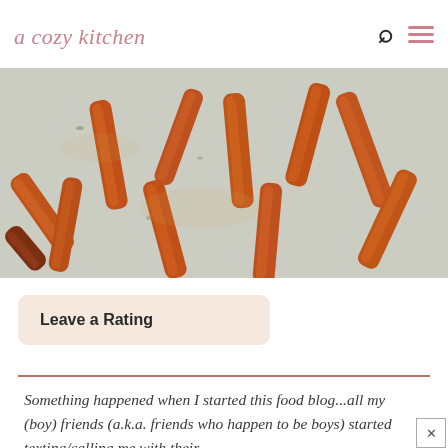a cozy kitchen
[Figure (photo): Overhead shot of roasted carrot sticks spread on a baking sheet with parchment paper, seasoned with herbs]
Leave a Rating
Something happened when I started this food blog...all my (boy) friends (a.k.a. friends who happen to be boys) started texting/calling me with their